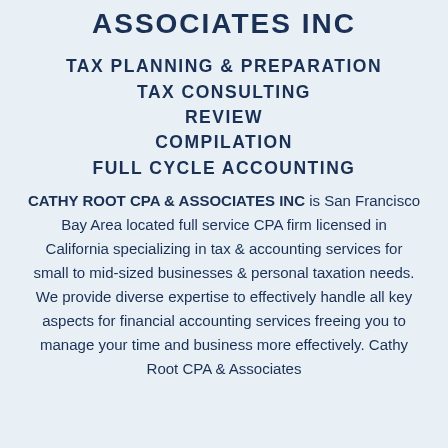ASSOCIATES INC
TAX PLANNING & PREPARATION
TAX CONSULTING
REVIEW
COMPILATION
FULL CYCLE ACCOUNTING
CATHY ROOT CPA & ASSOCIATES INC is San Francisco Bay Area located full service CPA firm licensed in California specializing in tax & accounting services for small to mid-sized businesses & personal taxation needs. We provide diverse expertise to effectively handle all key aspects for financial accounting services freeing you to manage your time and business more effectively. Cathy Root CPA & Associates